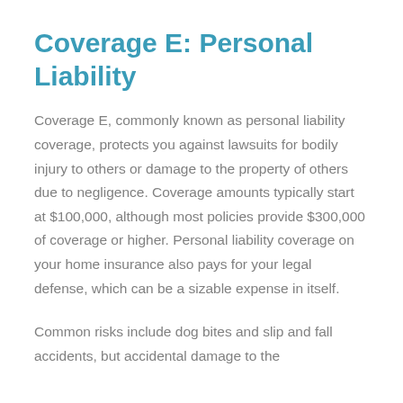Coverage E: Personal Liability
Coverage E, commonly known as personal liability coverage, protects you against lawsuits for bodily injury to others or damage to the property of others due to negligence. Coverage amounts typically start at $100,000, although most policies provide $300,000 of coverage or higher. Personal liability coverage on your home insurance also pays for your legal defense, which can be a sizable expense in itself.
Common risks include dog bites and slip and fall accidents, but accidental damage to the